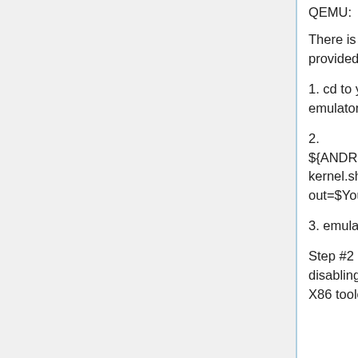QEMU:
There is actually a nice and shorter way to build the kernel for your QEMU target provided by the AOSP:
1. cd to your kernel source dir (Only goldfish 2.6.29 works out of the box for the emulator)
2. ${ANDROID_BUILD_TOP}/external/qemu/d kernel.sh -j=64 --arch=x86 --out=$YourOutDir
3. emulator -kernel ${YourOutDir}/kernel-qemu # run emulator:
Step #2 calls the toolbox.sh wrapper scripts which works around the SSE disabling gcc warning - which happens for GCC < 4.5 (as in the AOSP prebuilt X86 toolchain).